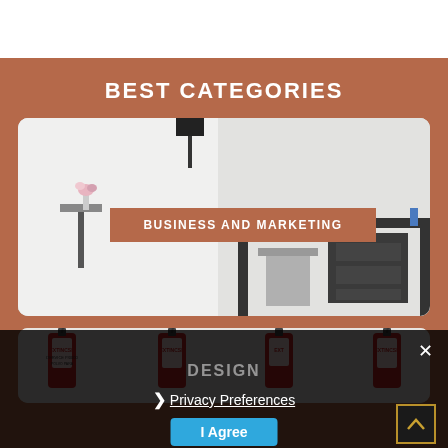BEST CATEGORIES
[Figure (photo): Office/workspace scene with a desk, chair, lamp, flowers in a vase on a side table, and a black desk with drawers]
BUSINESS AND MARKETING
[Figure (photo): Row of red fire extinguishers labeled EXTINCSE mounted on a white wall]
DESIGN
Privacy Preferences
I Agree